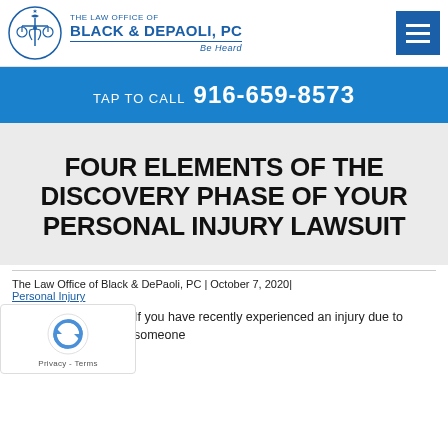THE LAW OFFICE OF BLACK & DEPAOLI, PC — Be Heard
TAP TO CALL 916-659-8573
FOUR ELEMENTS OF THE DISCOVERY PHASE OF YOUR PERSONAL INJURY LAWSUIT
The Law Office of Black & DePaoli, PC | October 7, 2020| Personal Injury
If you have recently experienced an injury due to someone